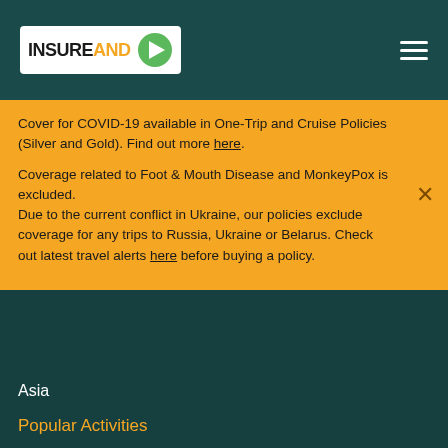INSURE AND GO
Cover for COVID-19 available in One-Trip and Cruise Policies (Silver and Gold). Find out more here.
Coverage related to Foot & Mouth Disease and MonkeyPox is excluded.
Due to the current conflict in Ukraine, our policies exclude coverage for any trips to Russia, Ukraine or Belarus. Check out latest travel alerts here before buying a policy.
Asia
Popular Activities
Jet Skiing
Mountain Biking
Scuba Diving
Motorcycling
Cruise